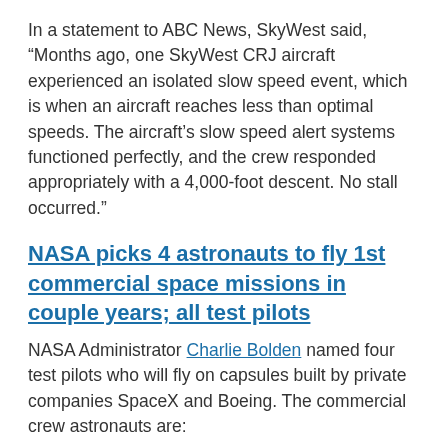In a statement to ABC News, SkyWest said, “Months ago, one SkyWest CRJ aircraft experienced an isolated slow speed event, which is when an aircraft reaches less than optimal speeds. The aircraft’s slow speed alert systems functioned perfectly, and the crew responded appropriately with a 4,000-foot descent. No stall occurred.”
NASA picks 4 astronauts to fly 1st commercial space missions in couple years; all test pilots
NASA Administrator Charlie Bolden named four test pilots who will fly on capsules built by private companies SpaceX and Boeing. The commercial crew astronauts are:
Air Force Col. Robert Behnken, who was head of the astronaut office;
Air Force Col. Eric Boe, part of shuttle Discovery’s last crew;